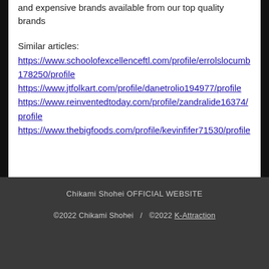and expensive brands available from our top quality brands
Similar articles:
https://www.schoolofexcellenceftl.com/profile/errolslocumb178250/profile
https://www.jtfolkart.com/profile/danetrolio194977/profile
https://www.reinventedtoday.com/profile/zandralide16374/profile
https://www.thebigfoods.com/profile/kevinfifer71530/profile
Chikami Shohei OFFICIAL WEBSITE
©2022 Chikami Shohei  /  ©2022 K-Attraction